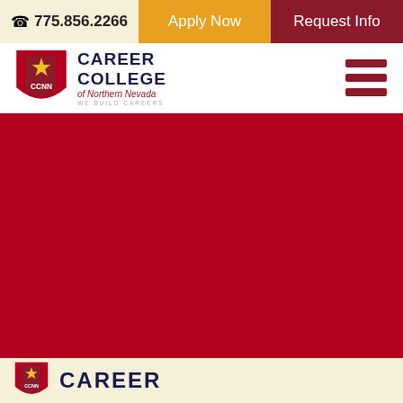775.856.2266 | Apply Now | Request Info
[Figure (logo): Career College of Northern Nevada logo with shield/state emblem and text 'WE BUILD CAREERS']
[Figure (other): Hamburger menu icon (three red horizontal bars)]
[Figure (photo): Large solid dark red hero image area]
[Figure (logo): Career College of Northern Nevada partial logo at bottom in cream bar]